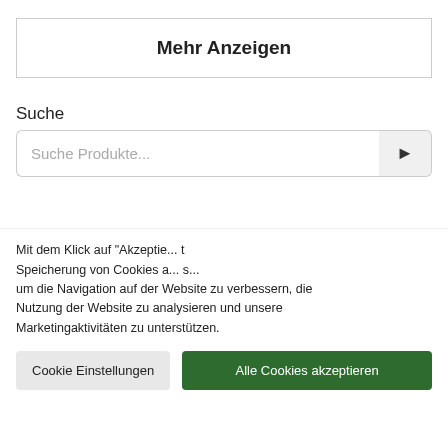Mehr Anzeigen
Suche
Suche Produkte...
Hilfe benötigt? Schreib uns!
Mit dem Klick auf "Akzeptie... t Speicherung von Cookies a... s... um die Navigation auf der Website zu verbessern, die Nutzung der Website zu analysieren und unsere Marketingaktivitäten zu unterstützen.
Cookie Einstellungen
Alle Cookies akzeptieren